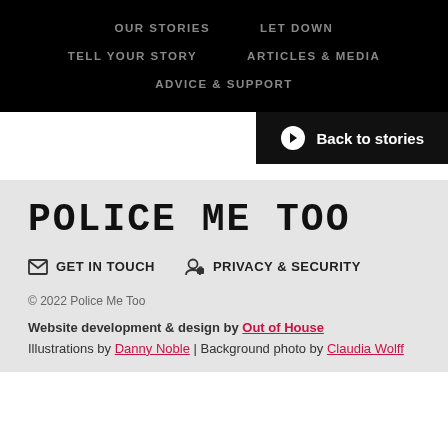OUR STORIES | LET DOWN | TELL YOUR STORY | ARTICLES & MEDIA | ADVICE & SUPPORT
Back to stories
POLICE ME TOO
GET IN TOUCH   PRIVACY & SECURITY
© 2022 Police Me Too
Website development & design by Out of House
Illustrations by Danny Noble | Background photo by Claudia Wolff